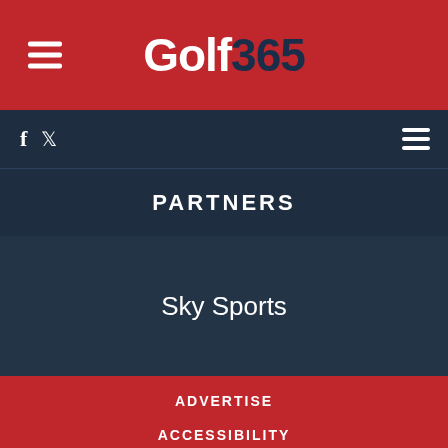Golf365
PARTNERS
Sky Sports
ADVERTISE
ACCESSIBILITY
PRIVACY AND COOKIES NOTICE
TERMS & CONDITIONS
CONTACT US